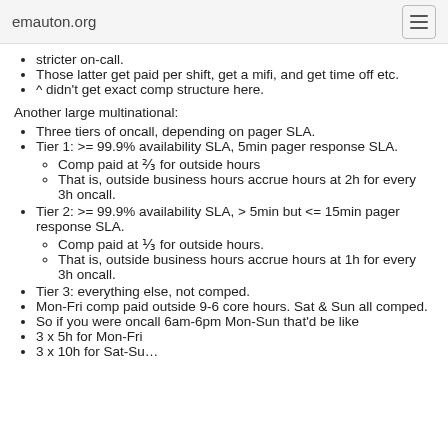emauton.org
stricter on-call.
Those latter get paid per shift, get a mifi, and get time off etc.
^ didn't get exact comp structure here.
Another large multinational:
Three tiers of oncall, depending on pager SLA.
Tier 1: >= 99.9% availability SLA, 5min pager response SLA.
Comp paid at ⅔ for outside hours
That is, outside business hours accrue hours at 2h for every 3h oncall.
Tier 2: >= 99.9% availability SLA, > 5min but <= 15min pager response SLA.
Comp paid at ⅓ for outside hours.
That is, outside business hours accrue hours at 1h for every 3h oncall.
Tier 3: everything else, not comped.
Mon-Fri comp paid outside 9-6 core hours. Sat & Sun all comped.
So if you were oncall 6am-6pm Mon-Sun that'd be like
3 x 5h for Mon-Fri
3 x 10h for Sat-Sun (truncated)